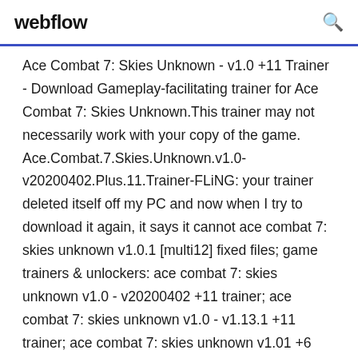webflow
Ace Combat 7: Skies Unknown - v1.0 +11 Trainer - Download Gameplay-facilitating trainer for Ace Combat 7: Skies Unknown.This trainer may not necessarily work with your copy of the game. Ace.Combat.7.Skies.Unknown.v1.0-v20200402.Plus.11.Trainer-FLiNG: your trainer deleted itself off my PC and now when I try to download it again, it says it cannot ace combat 7: skies unknown v1.0.1 [multi12] fixed files; game trainers & unlockers: ace combat 7: skies unknown v1.0 - v20200402 +11 trainer; ace combat 7: skies unknown v1.0 - v1.13.1 +11 trainer; ace combat 7: skies unknown v1.01 +6 trainer; ace combat 7: skies unknown v1.0 - v1.10 +11 trainer; ace combat 7: skies unknown v1.0